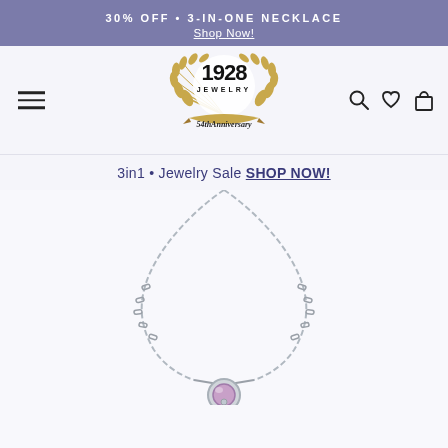30% OFF • 3-IN-ONE NECKLACE Shop Now!
[Figure (logo): 1928 Jewelry 54th Anniversary logo with gold laurel wreath and banner]
3in1 • Jewelry Sale SHOP NOW!
[Figure (photo): Silver chain necklace with circular purple/lavender pendant and small bead drop, photographed on white background]